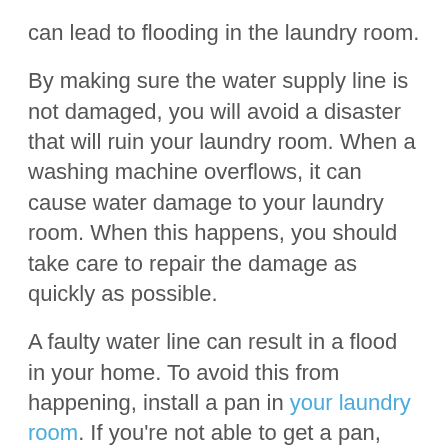can lead to flooding in the laundry room.
By making sure the water supply line is not damaged, you will avoid a disaster that will ruin your laundry room. When a washing machine overflows, it can cause water damage to your laundry room. When this happens, you should take care to repair the damage as quickly as possible.
A faulty water line can result in a flood in your home. To avoid this from happening, install a pan in your laundry room. If you're not able to get a pan, you can always buy one that has the appropriate size and type of pan for your machine. Besides cleaning up the flooded room, you should also consider the safety of your laundry room. Water lines can easily break, and the water level in the room can reach dangerous levels.
If you have a washer that is prone to bursting, you